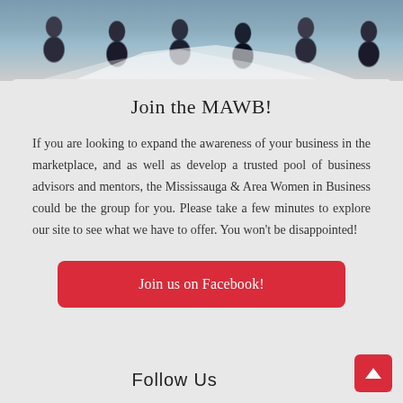[Figure (photo): Group photo of women sitting together, viewed from above, with papers/posters on the floor]
Join the MAWB!
If you are looking to expand the awareness of your business in the marketplace, and as well as develop a trusted pool of business advisors and mentors, the Mississauga & Area Women in Business could be the group for you. Please take a few minutes to explore our site to see what we have to offer. You won't be disappointed!
Join us on Facebook!
Follow Us